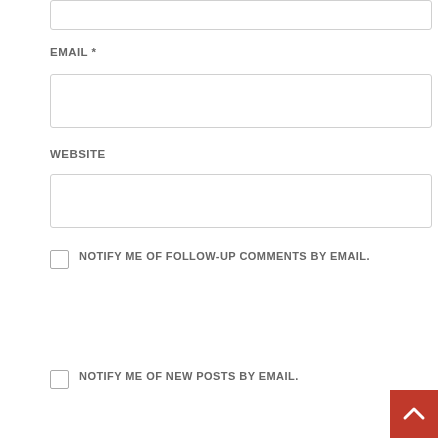[Figure (screenshot): Top portion of a web form input box (partially visible at top of page)]
EMAIL *
[Figure (screenshot): Empty text input field for email]
WEBSITE
[Figure (screenshot): Empty text input field for website]
NOTIFY ME OF FOLLOW-UP COMMENTS BY EMAIL.
NOTIFY ME OF NEW POSTS BY EMAIL.